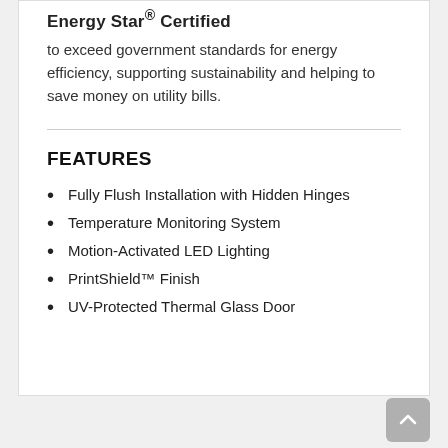Energy Star® Certified
to exceed government standards for energy efficiency, supporting sustainability and helping to save money on utility bills.
FEATURES
Fully Flush Installation with Hidden Hinges
Temperature Monitoring System
Motion-Activated LED Lighting
PrintShield™ Finish
UV-Protected Thermal Glass Door